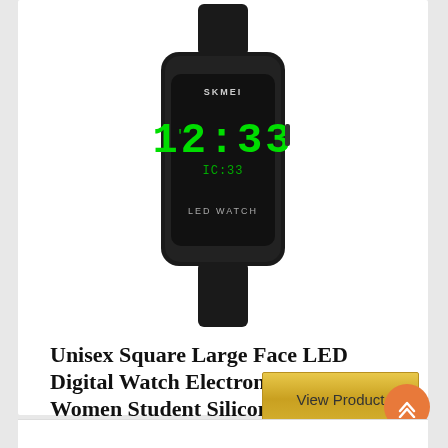[Figure (photo): SKMEI branded black square LED digital watch showing 12:33 in green digits on display with 'LED WATCH' text, black silicone band]
Unisex Square Large Face LED Digital Watch Electronic Men Watch Women Student Silicone Watches
[Figure (other): Golden 'View Product' button]
[Figure (other): Orange circular scroll-to-top button with double chevron up arrow]